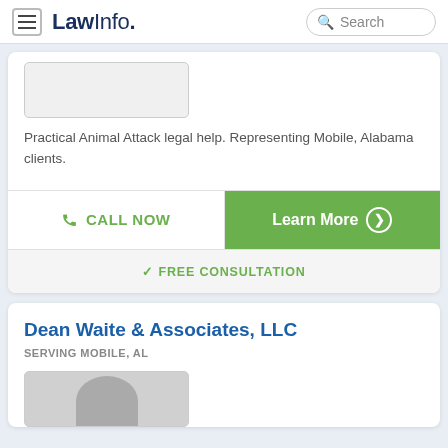LawInfo. Search
[Figure (photo): Partial lawyer photo placeholder, top of card]
Practical Animal Attack legal help. Representing Mobile, Alabama clients.
CALL NOW
Learn More
FREE CONSULTATION
Dean Waite & Associates, LLC
SERVING MOBILE, AL
[Figure (photo): Partial lawyer headshot photo, bottom of page]